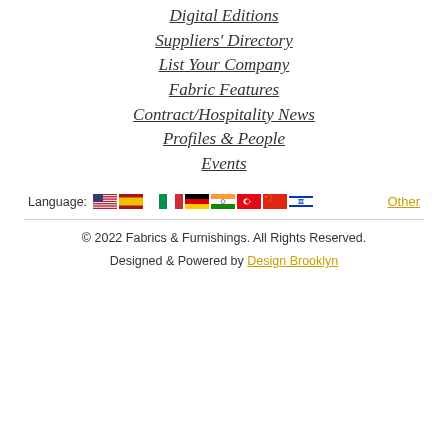Digital Editions
Suppliers' Directory
List Your Company
Fabric Features
Contract/Hospitality News
Profiles & People
Events
Language: [flags: US, Spain, Italy, Germany, India, Turkey, China, Israel] Other
© 2022 Fabrics & Furnishings. All Rights Reserved.
Designed & Powered by Design Brooklyn